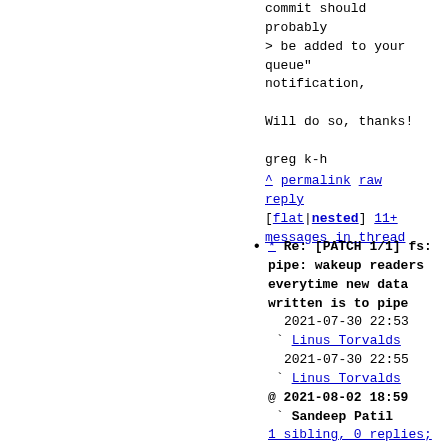commit should
probably
> be added to your
queue"
notification,

Will do so, thanks!

greg k-h
^ permalink raw reply
[flat|nested] 11+ messages in thread
* Re: [PATCH 1/1] fs: pipe: wakeup readers everytime new data written is to pipe
2021-07-30 22:53
` Linus Torvalds
2021-07-30 22:55
` Linus Torvalds
@ 2021-08-02 18:59
` Sandeep Patil
1 sibling, 0 replies; 11+ messages in thread
From: Sandeep Patil @ 2021-08-02 18:59 UTC
(permalink / raw)